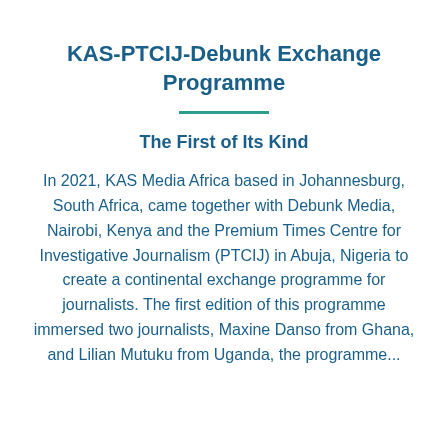KAS-PTCIJ-Debunk Exchange Programme
The First of Its Kind
In 2021, KAS Media Africa based in Johannesburg, South Africa, came together with Debunk Media, Nairobi, Kenya and the Premium Times Centre for Investigative Journalism (PTCIJ) in Abuja, Nigeria to create a continental exchange programme for journalists. The first edition of this programme immersed two journalists, Maxine Danso from Ghana, and Lilian Mutuku from Uganda, the programme...